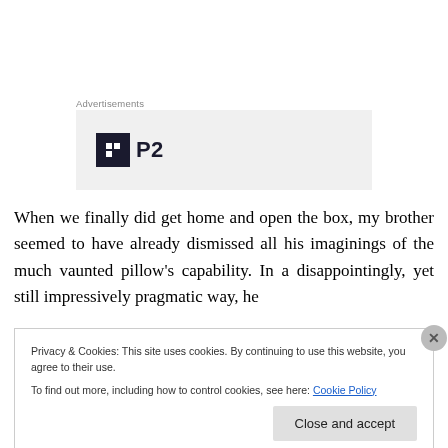Advertisements
[Figure (logo): P2 logo: dark square icon with H-shape cutout beside bold text 'P2' on grey background advertisement box]
When we finally did get home and open the box, my brother seemed to have already dismissed all his imaginings of the much vaunted pillow's capability. In a disappointingly, yet still impressively pragmatic way, he
Privacy & Cookies: This site uses cookies. By continuing to use this website, you agree to their use.
To find out more, including how to control cookies, see here: Cookie Policy
Close and accept